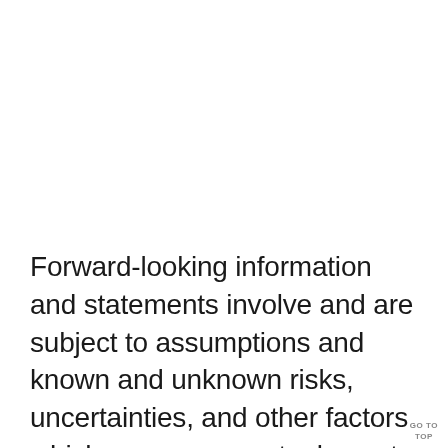Forward-looking information and statements involve and are subject to assumptions and known and unknown risks, uncertainties, and other factors which may cause actual events, results, performance, or achievements of the Company to be materially different fro
GO TO TOP